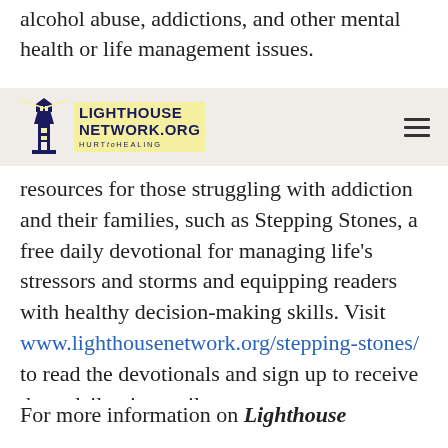alcohol abuse, addictions, and other mental health or life management issues.
[Figure (logo): Lighthouse Network.org HURT to HEALING logo with lighthouse icon]
resources for those struggling with addiction and their families, such as Stepping Stones, a free daily devotional for managing life's stressors and storms and equipping readers with healthy decision-making skills. Visit www.lighthousenetwork.org/stepping-stones/ to read the devotionals and sign up to receive them daily via email.
For more information on Lighthouse